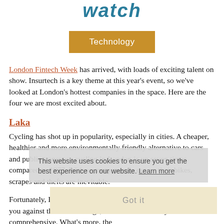watch
Technology
London Fintech Week has arrived, with loads of exciting talent on show. Insurtech is a key theme at this year's event, so we've looked at London's hottest companies in the space. Here are the four we are most excited about.
Laka
Cycling has shot up in popularity, especially in cities. A cheaper, healthier and more environmentally friendly alternative to cars and public transport, cycling in London is up seven times compared to 1977. With so many people out on their bikes, scrapes and thefts are inevitable.
Fortunately, Laka is here to help. Their bullet-proof cover protects you against theft and damage, and the cover is very comprehensive. What's more, the